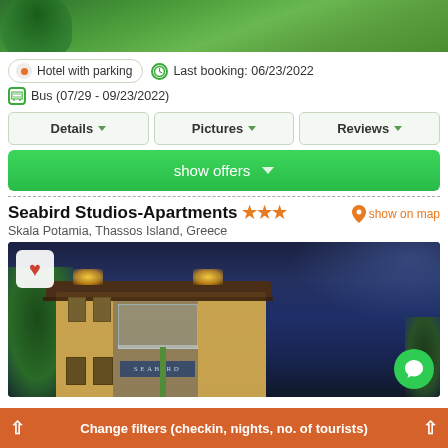[Figure (photo): Top portion of a grass and tree outdoor photo, partially cropped]
Hotel with parking
Last booking: 06/23/2022
Bus (07/29 - 09/23/2022)
Details
Pictures
Reviews
show offers
Seabird Studios-Apartments ★★★
Skala Potamia, Thassos Island, Greece
show on map
[Figure (photo): Night-time exterior photo of Seabird Studios-Apartments building, illuminated with warm lights against a blue dusk sky, with trees on the left and a SEABIRD sign on the facade]
Change filters (checkin, nights, no. of tourists)